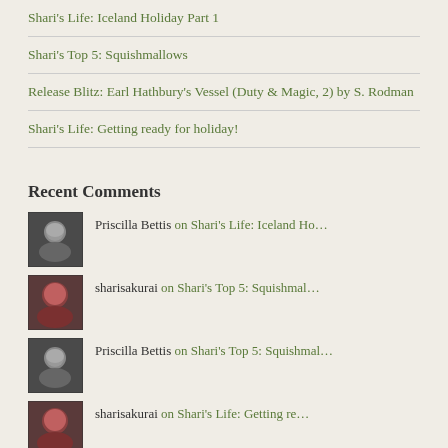Shari's Life: Iceland Holiday Part 1
Shari's Top 5: Squishmallows
Release Blitz: Earl Hathbury's Vessel (Duty & Magic, 2) by S. Rodman
Shari's Life: Getting ready for holiday!
Recent Comments
Priscilla Bettis on Shari's Life: Iceland Ho...
sharisakurai on Shari's Top 5: Squishmal...
Priscilla Bettis on Shari's Top 5: Squishmal...
sharisakurai on Shari's Life: Getting re...